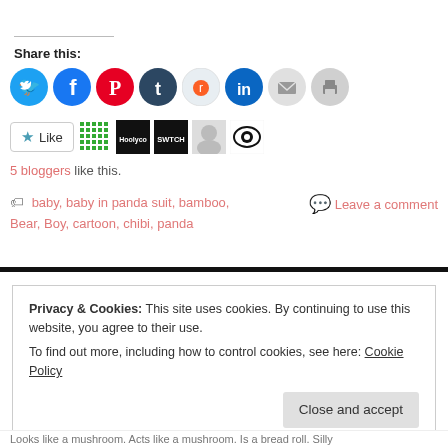Share this:
[Figure (infographic): Row of circular social media share icons: Twitter (blue), Facebook (blue), Pinterest (red), Tumblr (dark blue), Reddit (light blue), LinkedIn (blue), Email (gray), Print (gray)]
[Figure (infographic): Like button with star icon and blogger avatars: a green dotted grid, black Hoolynco logo, black SWTCH logo, a face avatar, and a black-and-white eye logo]
5 bloggers like this.
baby, baby in panda suit, bamboo, Bear, Boy, cartoon, chibi, panda
Leave a comment
Privacy & Cookies: This site uses cookies. By continuing to use this website, you agree to their use.
To find out more, including how to control cookies, see here: Cookie Policy
Close and accept
Looks like a mushroom. Acts like a mushroom. Is a bread roll. Silly